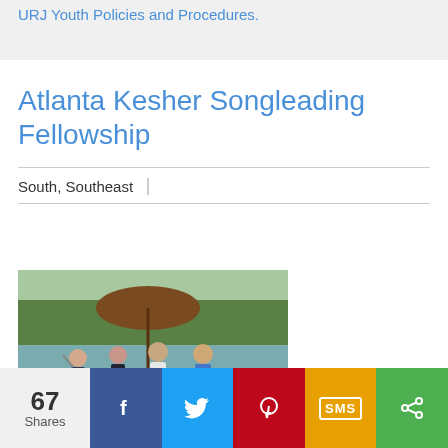URJ Youth Policies and Procedures.
Atlanta Kesher Songleading Fellowship
South, Southeast
[Figure (photo): Group of young people playing guitars and singing outdoors near a lake under a large brown umbrella, with green trees in the background.]
67 Shares | Facebook | Twitter | Pinterest | SMS | Share